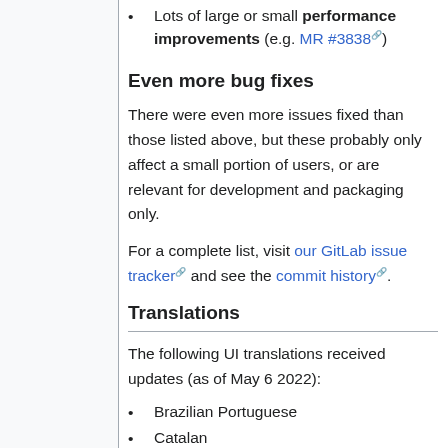Lots of large or small performance improvements (e.g. MR #3838)
Even more bug fixes
There were even more issues fixed than those listed above, but these probably only affect a small portion of users, or are relevant for development and packaging only.
For a complete list, visit our GitLab issue tracker and see the commit history.
Translations
The following UI translations received updates (as of May 6 2022):
Brazilian Portuguese
Catalan
Czech